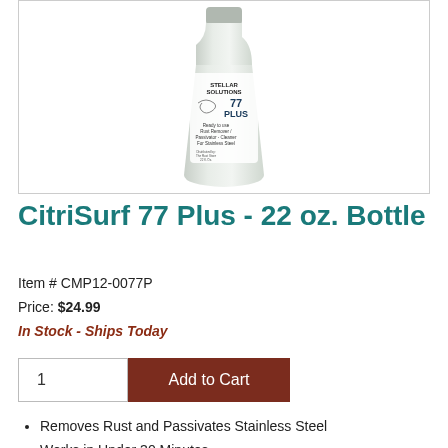[Figure (photo): A white plastic bottle of Stellar Solutions CitriSurf 77 Plus, a ready to use Rust Remover / Passivator - Cleaner for Stainless Steel, 22 fl. oz.]
CitriSurf 77 Plus - 22 oz. Bottle
Item # CMP12-0077P
Price: $24.99
In Stock - Ships Today
Removes Rust and Passivates Stainless Steel
Works in Under 30 Minutes